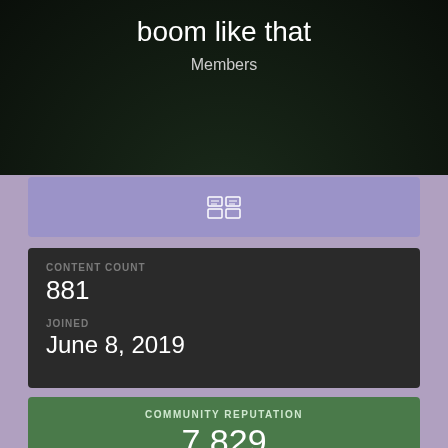boom like that
Members
[Figure (screenshot): Purple navigation bar with a grid/list toggle icon]
CONTENT COUNT
881
JOINED
June 8, 2019
COMMUNITY REPUTATION
7,829
Kween Supreme
See reputation activity ▶
55 FOLLOWERS
[Figure (photo): Four follower avatar thumbnails in a row]